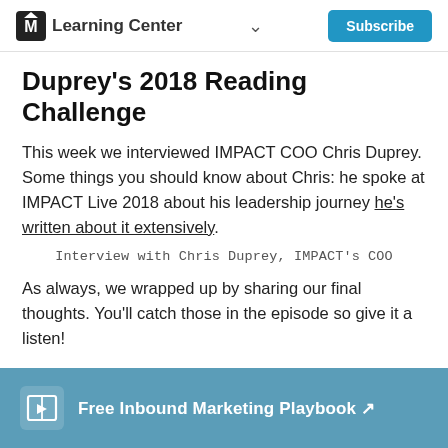Learning Center  Subscribe
Duprey’s 2018 Reading Challenge
This week we interviewed IMPACT COO Chris Duprey. Some things you should know about Chris: he spoke at IMPACT Live 2018 about his leadership journey he’s written about it extensively.
Interview with Chris Duprey, IMPACT’s COO
As always, we wrapped up by sharing our final thoughts. You'll catch those in the episode so give it a listen!
Free Inbound Marketing Playbook ↗